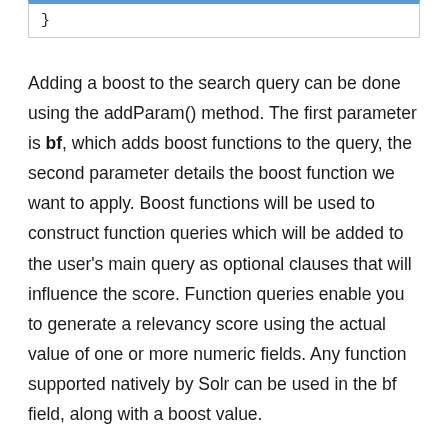}
Adding a boost to the search query can be done using the addParam() method. The first parameter is bf, which adds boost functions to the query, the second parameter details the boost function we want to apply. Boost functions will be used to construct function queries which will be added to the user’s main query as optional clauses that will influence the score. Function queries enable you to generate a relevancy score using the actual value of one or more numeric fields. Any function supported natively by Solr can be used in the bf field, along with a boost value.